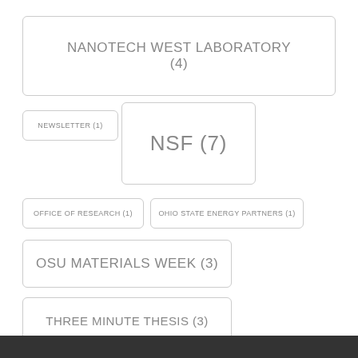NANOTECH WEST LABORATORY (4)
NEWSLETTER (1)
NSF (7)
OFFICE OF RESEARCH (1)
OHIO STATE ENERGY PARTNERS (1)
OSU MATERIALS WEEK (3)
THREE MINUTE THESIS (3)